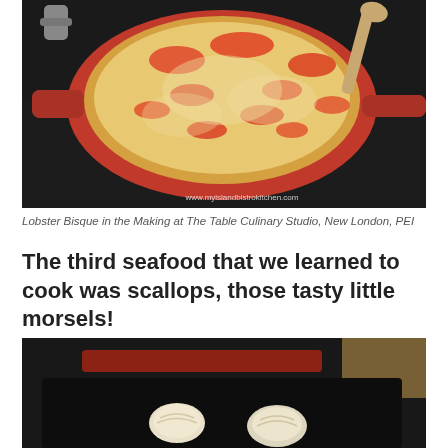[Figure (photo): A red cast iron skillet on a stove containing lobster bisque with chunks of red lobster meat in a creamy sauce, with a wooden spoon. Website watermark: www.myislandbistrokitchen.com]
Lobster Bisque in the Making at The Table Culinary Studio, New London, PEI
The third seafood that we learned to cook was scallops, those tasty little morsels!
[Figure (photo): A black cast iron skillet on a stove with two raw scallops visible, and a reddish heating element visible in the background.]